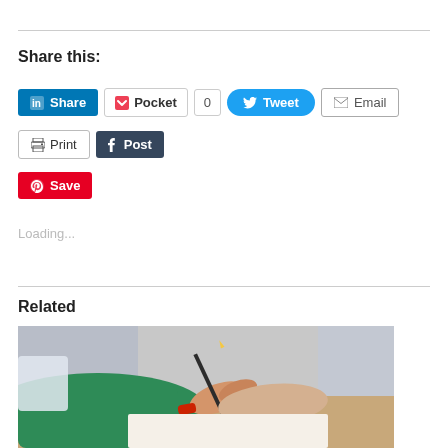Share this:
[Figure (screenshot): Social sharing buttons row 1: LinkedIn Share, Pocket (with count 0), Tweet, Email]
[Figure (screenshot): Social sharing buttons row 2: Print, Post (Tumblr)]
[Figure (screenshot): Social sharing button: Pinterest Save]
Loading...
Related
[Figure (photo): A person in a green sweater helping another person draw with a pencil on paper; classroom or art setting]